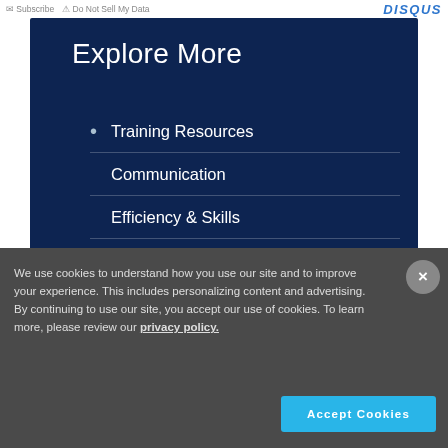Subscribe  Do Not Sell My Data  DISQUS
Explore More
Training Resources
Communication
Efficiency & Skills
We use cookies to understand how you use our site and to improve your experience. This includes personalizing content and advertising. By continuing to use our site, you accept our use of cookies. To learn more, please review our privacy policy.